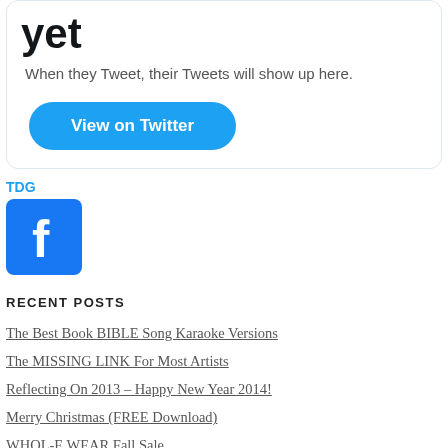[Figure (screenshot): Twitter embed widget showing 'yet' heading, 'When they Tweet, their Tweets will show up here.' text, and a blue 'View on Twitter' button]
TDG
[Figure (logo): Facebook logo icon — blue square with white lowercase f]
RECENT POSTS
The Best Book BIBLE Song Karaoke Versions
The MISSING LINK For Most Artists
Reflecting On 2013 – Happy New Year 2014!
Merry Christmas (FREE Download)
WHOL-E WEAR Fall Sale